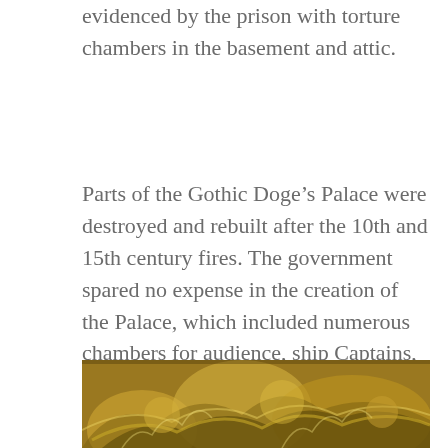evidenced by the prison with torture chambers in the basement and attic.
Parts of the Gothic Doge's Palace were destroyed and rebuilt after the 10th and 15th century fires. The government spared no expense in the creation of the Palace, which included numerous chambers for audience, ship Captains, the senate, judgement, meeting, library, the Doge's private living and many more that were used for various functions.
[Figure (photo): Bottom portion of a decorative golden painting or artwork, partially visible, showing ornate swirling patterns in gold and brown tones.]